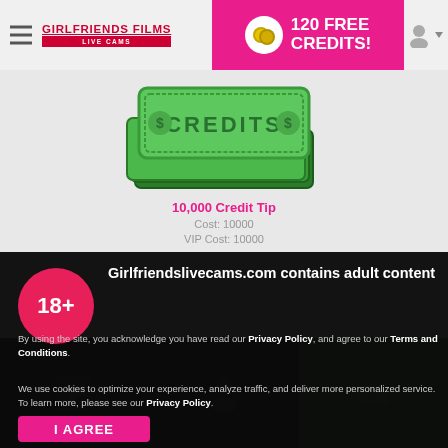GIRLFRIENDS FILMS LIVE CAMS | 120 FREE CREDITS!
[Figure (illustration): Green 3D graphic showing a stack of credit bills with the word CREDITS on them]
10,000 Credit Tip
Cost: 10000
VIP Cost: 10000
[Figure (infographic): Adult content age gate overlay with 18+ circle badge, heading 'Girlfriendslivecams.com contains adult content', privacy policy text, and I AGREE button]
Girlfriendslivecams.com contains adult content
By using the site, you acknowledge you have read our Privacy Policy, and agree to our Terms and Conditions.
We use cookies to optimize your experience, analyze traffic, and deliver more personalized service. To learn more, please see our Privacy Policy.